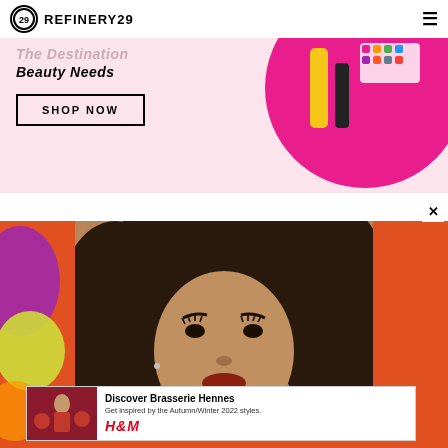REFINERY29
[Figure (photo): Refinery29 advertisement banner with pink background, bold italic text 'The Destination Beauty Needs', SHOP NOW button, and circle with beauty products on right]
[Figure (photo): Close-up portrait photo of a young woman with curly hair and bold makeup including red-brown lips, with colorful orange and purple background]
[Figure (photo): H&M advertisement banner for Discover Brasserie Hennes, Get inspired by the Autumn/Winter 2022 styles, with woman in red dress and H&M logo]